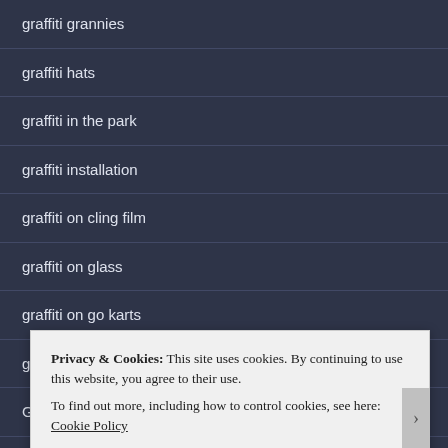graffiti grannies
graffiti hats
graffiti in the park
graffiti installation
graffiti on cling film
graffiti on glass
graffiti on go karts
graffiti signs
Graffiti t-shirts at Laycock Gate 2015
Privacy & Cookies: This site uses cookies. By continuing to use this website, you agree to their use.
To find out more, including how to control cookies, see here: Cookie Policy
Close and accept